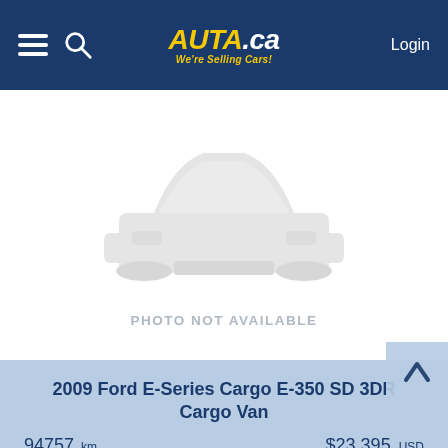AUTA.ca — We're Selling Cars! | Login
[Figure (illustration): Car silhouette placeholder image with text PHOTO NOT AVAILABLE]
PHOTO NOT AVAILABLE
2009 Ford E-Series Cargo E-350 SD 3DR Cargo Van
94757 km    $23,395 USD
[Figure (illustration): Partial car silhouette placeholder image at bottom of page]